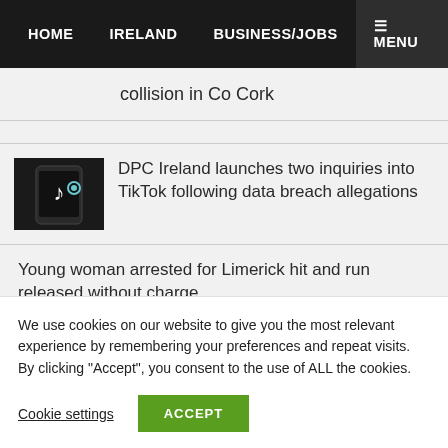HOME   IRELAND   BUSINESS/JOBS   ≡ MENU
collision in Co Cork
[Figure (photo): Hand holding a smartphone displaying the TikTok app logo on a dark screen]
DPC Ireland launches two inquiries into TikTok following data breach allegations
Young woman arrested for Limerick hit and run released without charge
We use cookies on our website to give you the most relevant experience by remembering your preferences and repeat visits. By clicking "Accept", you consent to the use of ALL the cookies.
Cookie settings
ACCEPT